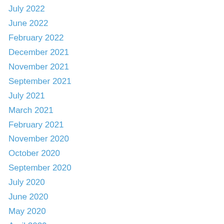July 2022
June 2022
February 2022
December 2021
November 2021
September 2021
July 2021
March 2021
February 2021
November 2020
October 2020
September 2020
July 2020
June 2020
May 2020
April 2020
March 2020
February 2020
January 2020
December 2019